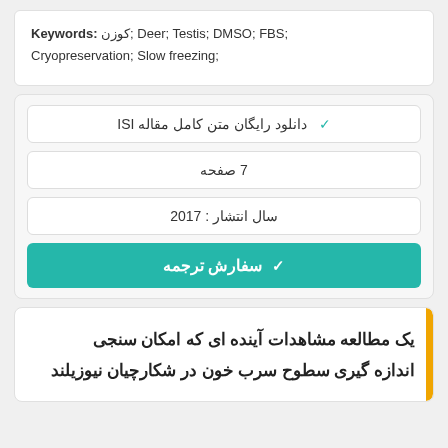Keywords: کوزن; Deer; Testis; DMSO; FBS; Cryopreservation; Slow freezing;
✔ دانلود رایگان متن کامل مقاله ISI
7 صفحه
سال انتشار : 2017
✔ سفارش ترجمه
یک مطالعه مشاهدات آینده ای که امکان سنجی اندازه گیری سطوح سرب خون در شکارچیان نیوزیلند